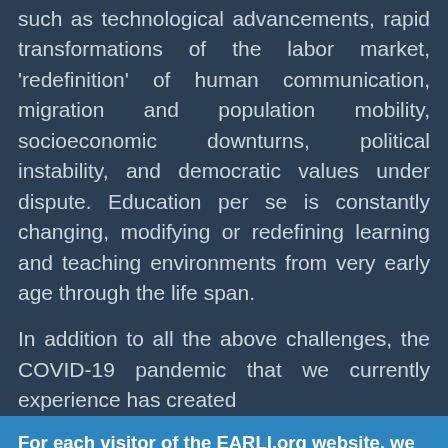such as technological advancements, rapid transformations of the labor market, 'redefinition' of human communication, migration and population mobility, socioeconomic downturns, political instability, and democratic values under dispute. Education per se is constantly changing, modifying or redefining learning and teaching environments from very early age through the life span.
In addition to all the above challenges, the COVID-19 pandemic that we currently experience has created
For each visitor of the EARLI.org website, we collect data about your visit. These statistics are useful to us, as we like to know who is visiting our website, how many unique visitors we reach each month, and whether we reach our target audience. This allows us to make strategic decisions in future on how to update and improve our website so we can engage with our audience even better.